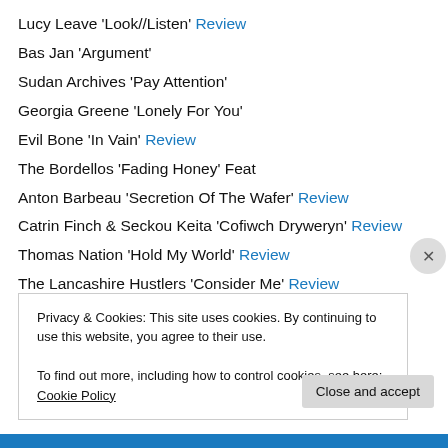Lucy Leave  'Look//Listen'  Review
Bas Jan  'Argument'
Sudan Archives  'Pay Attention'
Georgia Greene  'Lonely For You'
Evil Bone  'In Vain'  Review
The Bordellos  'Fading Honey'  Feat
Anton Barbeau  'Secretion Of The Wafer'  Review
Catrin Finch & Seckou Keita  'Cofiwch Dryweryn'  Review
Thomas Nation  'Hold My World'  Review
The Lancashire Hustlers  'Consider Me'  Review
Alex Staires  'Way Out'  Review
Privacy & Cookies: This site uses cookies. By continuing to use this website, you agree to their use.
To find out more, including how to control cookies, see here: Cookie Policy
Close and accept